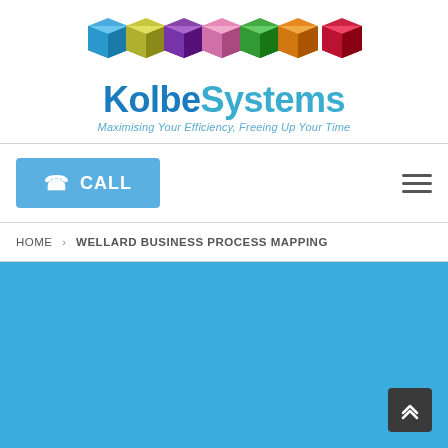[Figure (logo): KolbeSystems logo with seven 3D colored cubes (blue, yellow-green, purple, pink, green, orange, dark red) arranged in a row above the brand name 'KolbeSystems' and tagline 'Maximising Your Efficiency, Freeing Up Your Time']
☎ CALL
≡ (hamburger menu)
HOME > WELLARD BUSINESS PROCESS MAPPING
[Figure (other): Solid blue background section filling the bottom portion of the page, with a dark scroll-to-top button in the bottom right corner showing upward chevron arrows]